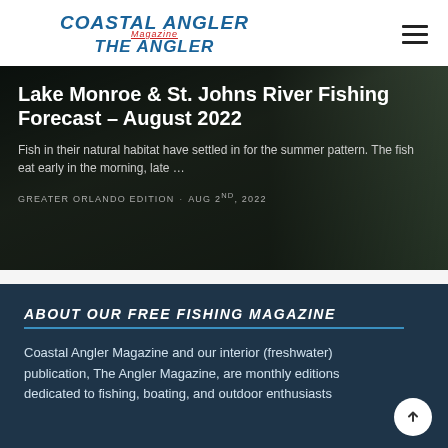COASTAL ANGLER Magazine THE ANGLER
[Figure (photo): Dark outdoor fishing background hero image with text overlay for Lake Monroe & St. Johns River Fishing Forecast article]
Lake Monroe & St. Johns River Fishing Forecast – August 2022
Fish in their natural habitat have settled in for the summer pattern. The fish eat early in the morning, late …
GREATER ORLANDO EDITION · AUG 2ND, 2022
ABOUT OUR FREE FISHING MAGAZINE
Coastal Angler Magazine and our interior (freshwater) publication, The Angler Magazine, are monthly editions dedicated to fishing, boating, and outdoor enthusiasts